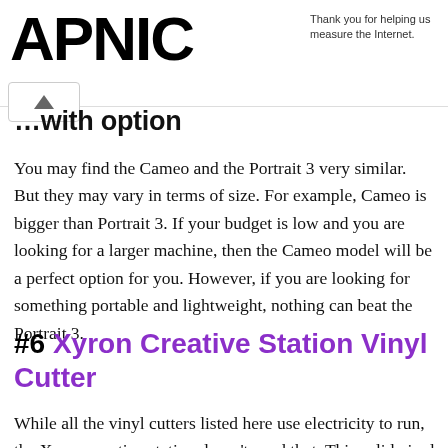APNIC — Thank you for helping us measure the Internet.
…with option
You may find the Cameo and the Portrait 3 very similar. But they may vary in terms of size. For example, Cameo is bigger than Portrait 3. If your budget is low and you are looking for a larger machine, then the Cameo model will be a perfect option for you. However, if you are looking for something portable and lightweight, nothing can beat the Portrait 3.
#6 Xyron Creative Station Vinyl Cutter
While all the vinyl cutters listed here use electricity to run, the Xyron creative station doesn't need that. This solid vinyl cutting machine is priced at an affordable rate and looks quite compact. This machine comes with a decent design…